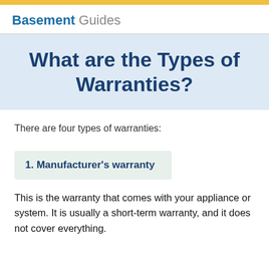Basement Guides
What are the Types of Warranties?
There are four types of warranties:
1. Manufacturer’s warranty
This is the warranty that comes with your appliance or system. It is usually a short-term warranty, and it does not cover everything.